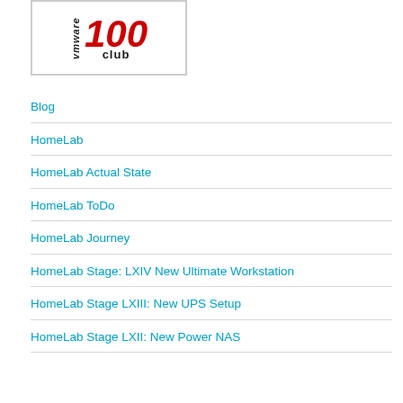[Figure (logo): VMware 100 Club logo with red italic '100' text and 'vmware' written vertically, 'club' below, all in a rectangular border]
Blog
HomeLab
HomeLab Actual State
HomeLab ToDo
HomeLab Journey
HomeLab Stage: LXIV New Ultimate Workstation
HomeLab Stage LXIII: New UPS Setup
HomeLab Stage LXII: New Power NAS